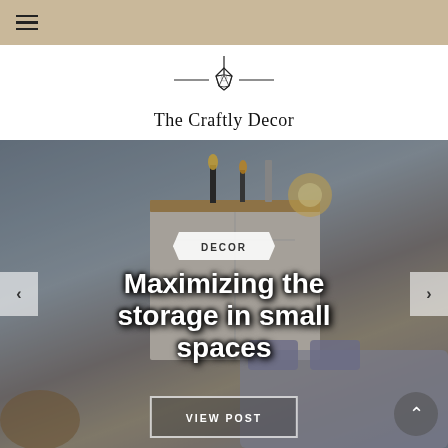≡ (hamburger menu)
[Figure (logo): The Craftly Decor logo — diamond pendant light icon above horizontal lines, text 'The Craftly Decor' below]
[Figure (photo): Interior decor photo showing a dresser with candles and decorative lamp in a living room setting, with a tufted gray sofa visible. Overlaid with 'DECOR' ribbon badge, bold white headline 'Maximizing the storage in small spaces', left/right carousel arrows, 'VIEW POST' button, and scroll-up button.]
Maximizing the storage in small spaces
DECOR
VIEW POST